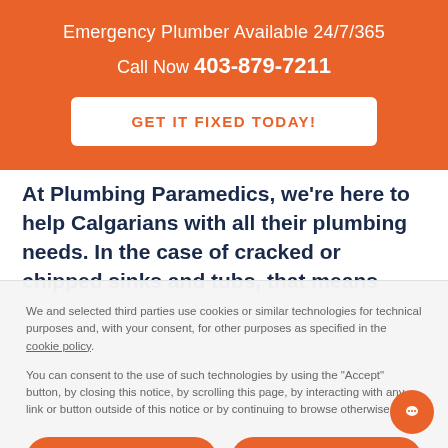Emergency Plumber Available 24/7/365
Call Now 403-879-7211
GET IT FIXED TODAY!
At Plumbing Paramedics, we're here to help Calgarians with all their plumbing needs. In the case of cracked or chipped sinks and tubs, that means
We and selected third parties use cookies or similar technologies for technical purposes and, with your consent, for other purposes as specified in the cookie policy.
You can consent to the use of such technologies by using the "Accept" button, by closing this notice, by scrolling this page, by interacting with any link or button outside of this notice or by continuing to browse otherwise.
Reject
Accept
Learn more and customize